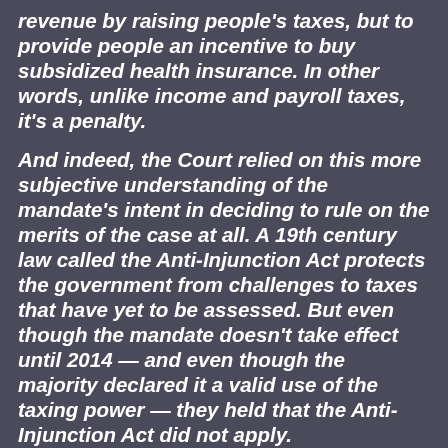revenue by raising people's taxes, but to provide people an incentive to buy subsidized health insurance. In other words, unlike income and payroll taxes, it's a penalty.
And indeed, the Court relied on this more subjective understanding of the mandate's intent in deciding to rule on the merits of the case at all. A 19th century law called the Anti-Injunction Act protects the government from challenges to taxes that have yet to be assessed. But even though the mandate doesn't take effect until 2014 — and even though the majority declared it a valid use of the taxing power — they held that the Anti-Injunction Act did not apply.
The Anti-Injunction Act applies to suits 'for the purpose of restraining the assessment or collection of any tax,' the Court determined. 'Congress, however, chose to describe the